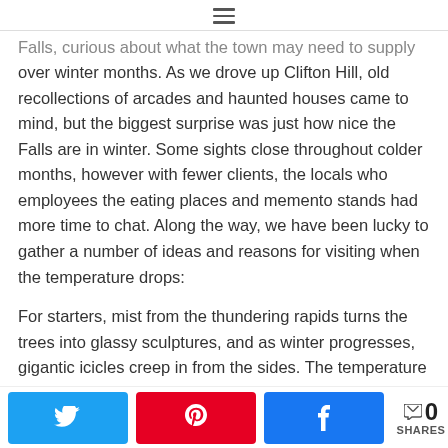≡
Falls, curious about what the town may need to supply over winter months. As we drove up Clifton Hill, old recollections of arcades and haunted houses came to mind, but the biggest surprise was just how nice the Falls are in winter. Some sights close throughout colder months, however with fewer clients, the locals who employees the eating places and memento stands had more time to chat. Along the way, we have been lucky to gather a number of ideas and reasons for visiting when the temperature drops:
For starters, mist from the thundering rapids turns the trees into glassy sculptures, and as winter progresses, gigantic icicles creep in from the sides. The temperature
0 SHARES — Twitter, Pinterest, Facebook share buttons